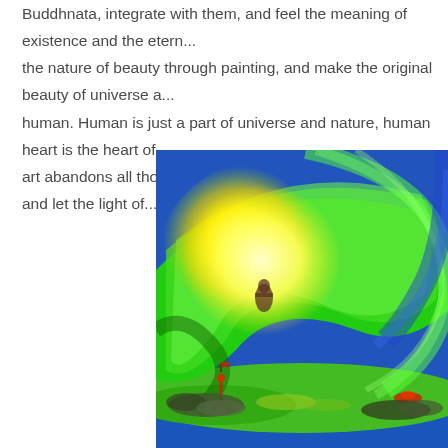Buddhnata, integrate with them, and feel the meaning of existence and the eternal... the nature of beauty through painting, and make the original beauty of universe a... human. Human is just a part of universe and nature, human heart is the heart of... art abandons all thoughts and all concepts, but open the heart and let the light of...
[Figure (illustration): A colorful swirling painting with vivid yellow, green, and blue hues forming large wave-like arcs. A dark silhouette figure floats in a bright yellow glowing center. At the bottom, small figures stand on rocky terrain near a blue sea, with green hills and swirling energy above.]